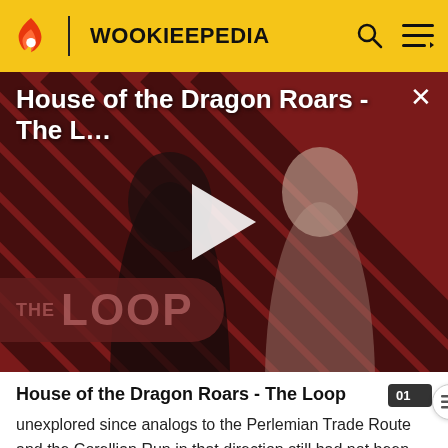WOOKIEEPEDIA
[Figure (screenshot): Video thumbnail for 'House of the Dragon Roars - The Loop' showing two characters against a red diagonal stripe background with a play button overlay and 'THE LOOP' branding in bottom left.]
House of the Dragon Roars - The Loop
unexplored since analogs to the Perlemian Trade Route and the Corellian Run in that direction still had not been discovered. Worse, progress was limited to dangerous one- or two-light-year jumps into a stretch of